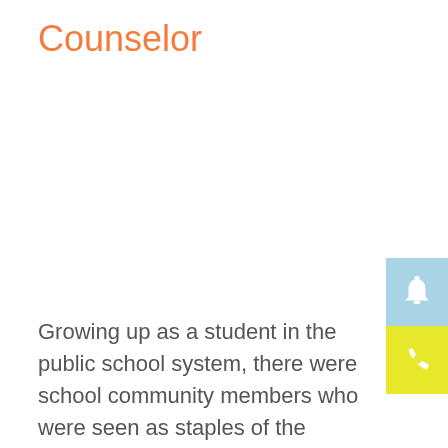Counselor
[Figure (illustration): Blue square icon with white bell symbol]
[Figure (illustration): Yellow square icon with white phone symbol]
Growing up as a student in the public school system, there were school community members who were seen as staples of the building. Of course, everyone knew their principal, their teachers, whether general education or specialist